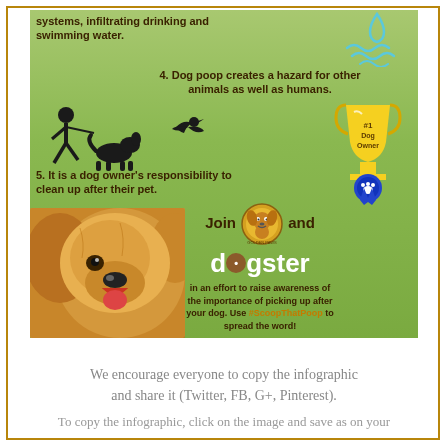[Figure (infographic): Dog poop awareness infographic on green background. Shows text: 'systems, infiltrating drinking and swimming water.' with water wave icon. Point 4: 'Dog poop creates a hazard for other animals as well as humans.' with person, dog, and bird silhouettes. Trophy icon with #1 Dog Owner ribbon. Point 5: 'It is a dog owner's responsibility to clean up after their pet.' Join Golden Paws and dogster logo text. 'in an effort to raise awareness of the importance of picking up after your dog. Use #ScoopThatPoop to spread the word!' Golden retriever dog photo in bottom left corner.]
We encourage everyone to copy the infographic and share it (Twitter, FB, G+, Pinterest).
To copy the infographic, click on the image and save as on your